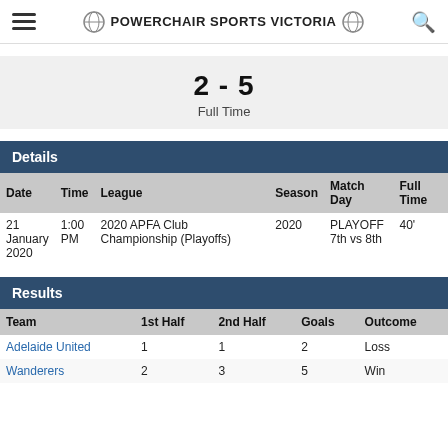POWERCHAIR SPORTS VICTORIA
2 - 5
Full Time
Details
| Date | Time | League | Season | Match Day | Full Time |
| --- | --- | --- | --- | --- | --- |
| 21 January 2020 | 1:00 PM | 2020 APFA Club Championship (Playoffs) | 2020 | PLAYOFF 7th vs 8th | 40' |
Results
| Team | 1st Half | 2nd Half | Goals | Outcome |
| --- | --- | --- | --- | --- |
| Adelaide United | 1 | 1 | 2 | Loss |
| Wanderers | 2 | 3 | 5 | Win |